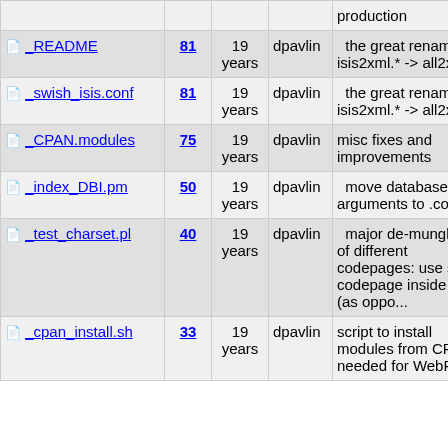| Name | Rev | Age | Author | Last log entry |
| --- | --- | --- | --- | --- |
|  |  |  |  | production |
| README | 81 | 19 years | dpavlin | the great rename isis2xml.* -> all2xml.* |
| swish_isis.conf | 81 | 19 years | dpavlin | the great rename isis2xml.* -> all2xml.* |
| CPAN.modules | 75 | 19 years | dpavlin | misc fixes and improvements |
| index_DBI.pm | 50 | 19 years | dpavlin | move database arguments to .conf file |
| test_charset.pl | 40 | 19 years | dpavlin | major de-mungling of different codepages: use same codepage inside perl (as oppo... |
| cpan_install.sh | 33 | 19 years | dpavlin | script to install modules from CPAN needed for WebPac |